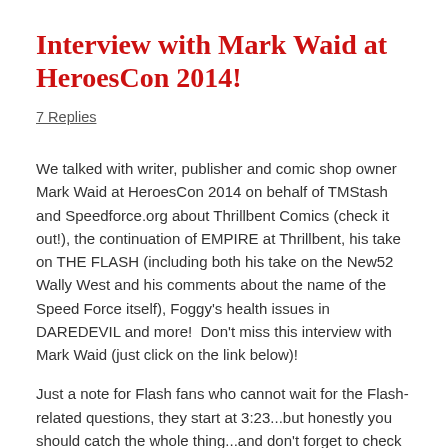Interview with Mark Waid at HeroesCon 2014!
7 Replies
We talked with writer, publisher and comic shop owner Mark Waid at HeroesCon 2014 on behalf of TMStash and Speedforce.org about Thrillbent Comics (check it out!), the continuation of EMPIRE at Thrillbent, his take on THE FLASH (including both his take on the New52 Wally West and his comments about the name of the Speed Force itself), Foggy's health issues in DAREDEVIL and more!  Don't miss this interview with Mark Waid (just click on the link below)!
Just a note for Flash fans who cannot wait for the Flash-related questions, they start at 3:23...but honestly you should catch the whole thing...and don't forget to check out Thrillbent.com!